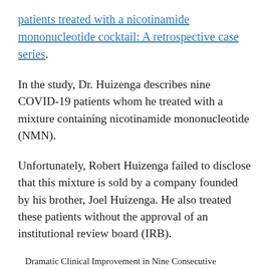patients treated with a nicotinamide mononucleotide cocktail: A retrospective case series.
In the study, Dr. Huizenga describes nine COVID-19 patients whom he treated with a mixture containing nicotinamide mononucleotide (NMN).
Unfortunately, Robert Huizenga failed to disclose that this mixture is sold by a company founded by his brother, Joel Huizenga. He also treated these patients without the approval of an institutional review board (IRB).
Dramatic Clinical Improvement in Nine Consecutive...